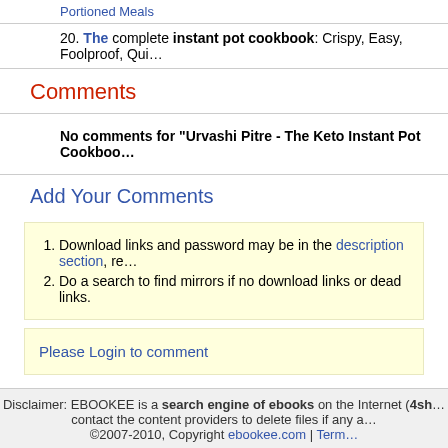Portioned Meals
20. The complete instant pot cookbook: Crispy, Easy, Foolproof, Qui…
Comments
No comments for "Urvashi Pitre - The Keto Instant Pot Cookboo…
Add Your Comments
1. Download links and password may be in the description section, re…
2. Do a search to find mirrors if no download links or dead links.
Please Login to comment
Disclaimer: EBOOKEE is a search engine of ebooks on the Internet (4sh… contact the content providers to delete files if any a… ©2007-2010, Copyright ebookee.com | Term…